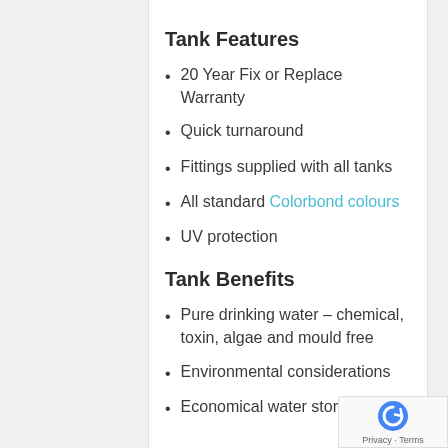Tank Features
20 Year Fix or Replace Warranty
Quick turnaround
Fittings supplied with all tanks
All standard Colorbond colours
UV protection
Tank Benefits
Pure drinking water – chemical, toxin, algae and mould free
Environmental considerations
Economical water storage